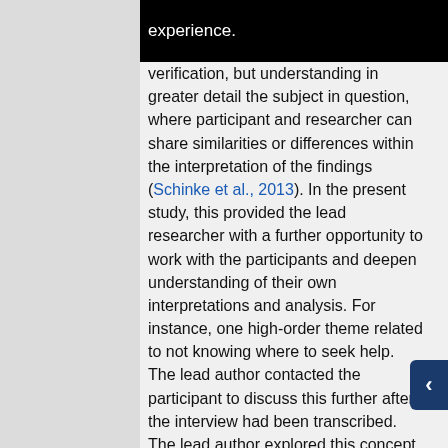experience.
verification, but understanding in greater detail the subject in question, where participant and researcher can share similarities or differences within the interpretation of the findings (Schinke et al., 2013). In the present study, this provided the lead researcher with a further opportunity to work with the participants and deepen understanding of their own interpretations and analysis. For instance, one high-order theme related to not knowing where to seek help. The lead author contacted the participant to discuss this further after the interview had been transcribed. The lead author explored this concept as they were curious about whether it truly was not knowing where to turn for help or an aspect related to not wanting to look for professional help or denial of an issue. The participant stated that it was not knowing where to seek help